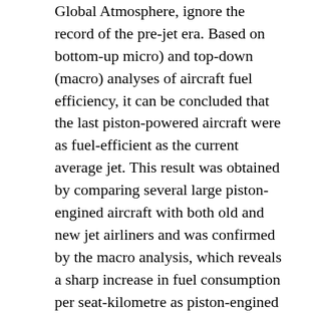Global Atmosphere, ignore the record of the pre-jet era. Based on bottom-up micro) and top-down (macro) analyses of aircraft fuel efficiency, it can be concluded that the last piston-powered aircraft were as fuel-efficient as the current average jet. This result was obtained by comparing several large piston-engined aircraft with both old and new jet airliners and was confirmed by the macro analysis, which reveals a sharp increase in fuel consumption per seat-kilometre as piston-engined aircraft were replaced by jet-engined. The last piston-powered airliners were at least twice as fuel-efficient as the first jet-powered aircraft.
Aircraft fuel efficiency is just one of the design parameters of interest to aircraft designers and